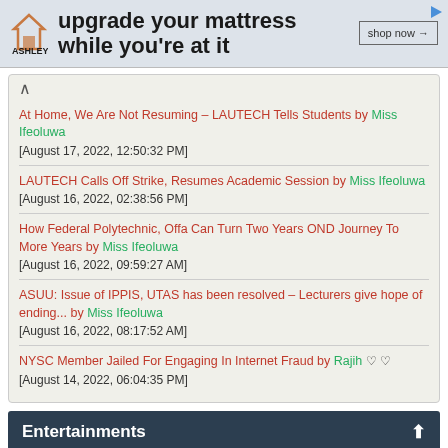[Figure (other): Ashley Furniture advertisement banner: house icon, Ashley logo, text 'upgrade your mattress while you're at it', shop now button, play icon]
At Home, We Are Not Resuming – LAUTECH Tells Students by Miss Ifeoluwa [August 17, 2022, 12:50:32 PM]
LAUTECH Calls Off Strike, Resumes Academic Session by Miss Ifeoluwa [August 16, 2022, 02:38:56 PM]
How Federal Polytechnic, Offa Can Turn Two Years OND Journey To More Years by Miss Ifeoluwa [August 16, 2022, 09:59:27 AM]
ASUU: Issue of IPPIS, UTAS has been resolved – Lecturers give hope of ending... by Miss Ifeoluwa [August 16, 2022, 08:17:52 AM]
NYSC Member Jailed For Engaging In Internet Fraud by Rajih ♡♡ [August 14, 2022, 06:04:35 PM]
Entertainments
Transgender model, 10, becomes youngest to walk the New York Fashion Week runway by Miss Ifeoluwa [August 17, 2022, 03:25:40 AM]